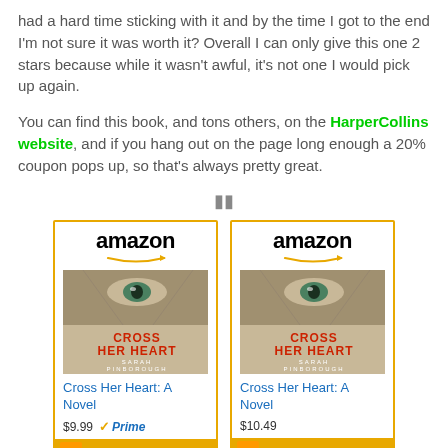had a hard time sticking with it and by the time I got to the end I'm not sure it was worth it? Overall I can only give this one 2 stars because while it wasn't awful, it's not one I would pick up again.
You can find this book, and tons others, on the HarperCollins website, and if you hang out on the page long enough a 20% coupon pops up, so that's always pretty great.
[Figure (other): Two Amazon product cards showing 'Cross Her Heart: A Novel' by Sarah Pinborough. Left card shows price $9.99 with Prime badge, right card shows $10.49.]